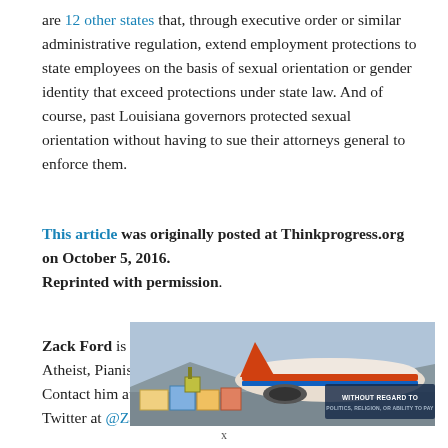are 12 other states that, through executive order or similar administrative regulation, extend employment protections to state employees on the basis of sexual orientation or gender identity that exceed protections under state law. And of course, past Louisiana governors protected sexual orientation without having to sue their attorneys general to enforce them.
This article was originally posted at Thinkprogress.org on October 5, 2016.
Reprinted with permission.
Zack Ford is the LGBT Editor at ThinkProgress.org. Gay, Atheist, Pianist, Unapologetic “Social Justice Warrior.” Contact him at zford@thinkprogress.org. Follow him on Twitter at @ZackFord
[Figure (photo): Advertisement banner showing a Southwest Airlines plane being loaded with cargo, with text 'WITHOUT REGARD TO POLITICS, RELIGION, OR ABILITY TO PAY']
x